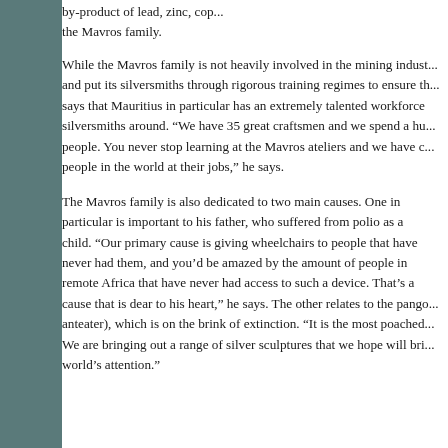by-product of lead, zinc, cop... the Mavros family.
While the Mavros family is not heavily involved in the mining indust... and put its silversmiths through rigorous training regimes to ensure th... says that Mauritius in particular has an extremely talented workforce silversmiths around. “We have 35 great craftsmen and we spend a hu... people. You never stop learning at the Mavros ateliers and we have c... people in the world at their jobs,” he says.
The Mavros family is also dedicated to two main causes. One in particular is important to his father, who suffered from polio as a child. “Our primary cause is giving wheelchairs to people that have never had them, and you’d be amazed by the amount of people in remote Africa that have never had access to such a device. That’s a cause that is dear to his heart,” he says. The other relates to the pango... anteater), which is on the brink of extinction. “It is the most poached... We are bringing out a range of silver sculptures that we hope will bri... world’s attention.”